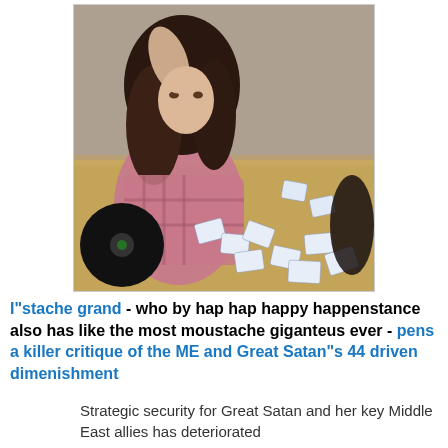[Figure (photo): Young woman with long dark hair sitting on a wooden floor surrounded by scattered playing cards and a vinyl record, wearing a pink plaid shirt, leaning on one hand]
I"stache grand - who by hap hap happy happenstance also has like the most moustache giganteus ever - pens a killer critique of the ME and Great Satan"s 44 driven dimenishment
Strategic security for Great Satan and her key Middle East allies has deteriorated